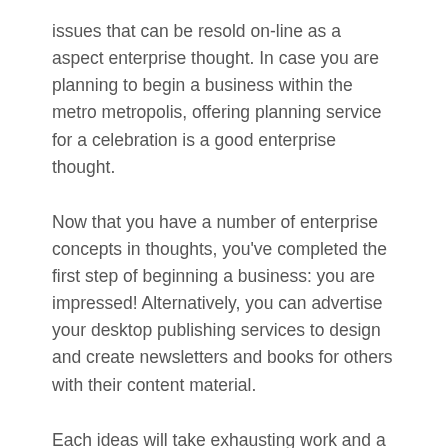issues that can be resold on-line as a aspect enterprise thought. In case you are planning to begin a business within the metro metropolis, offering planning service for a celebration is a good enterprise thought.
Now that you have a number of enterprise concepts in thoughts, you've completed the first step of beginning a business: you are impressed! Alternatively, you can advertise your desktop publishing services to design and create newsletters and books for others with their content material.
Each ideas will take exhausting work and a number of other years to take off, which makes them appealing as you hold down your present full-time place. A popular industry that girls are becoming more and more involved in is software program growth, when you have an idea for a chunk of software or a cell app then why not learn how to write software for your enterprise idea.